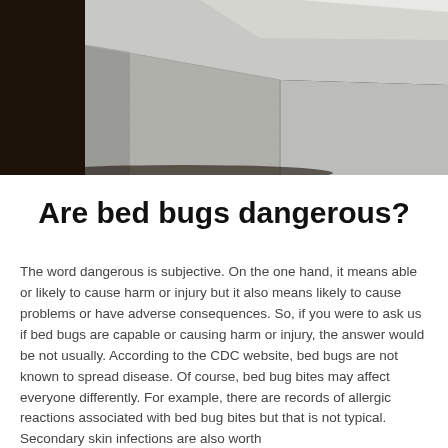[Figure (photo): Close-up photo of the corner of a light grey upholstered bed frame against a dark wooden floor background]
Are bed bugs dangerous?
The word dangerous is subjective. On the one hand, it means able or likely to cause harm or injury but it also means likely to cause problems or have adverse consequences. So, if you were to ask us if bed bugs are capable or causing harm or injury, the answer would be not usually. According to the CDC website, bed bugs are not known to spread disease. Of course, bed bug bites may affect everyone differently. For example, there are records of allergic reactions associated with bed bug bites but that is not typical. Secondary skin infections are also worth